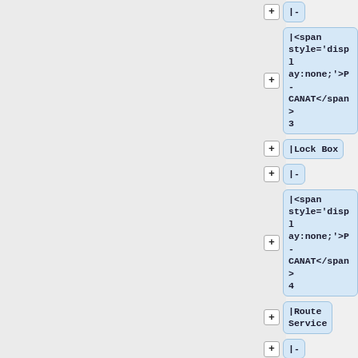|-
|<span style='display:none;'>P-CANAT</span>3
|Lock Box
|-
|<span style='display:none;'>P-CANAT</span>4
|Route Service
|-
|<span style='display:none;'>